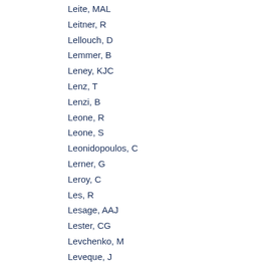Leite, MAL
Leitner, R
Lellouch, D
Lemmer, B
Leney, KJC
Lenz, T
Lenzi, B
Leone, R
Leone, S
Leonidopoulos, C
Lerner, G
Leroy, C
Les, R
Lesage, AAJ
Lester, CG
Levchenko, M
Leveque, J
Levin, D
Levinson, LJ
Levy, M
Lewis, D
Li, B
Li, C
Li, H
Li, L
Li, Q